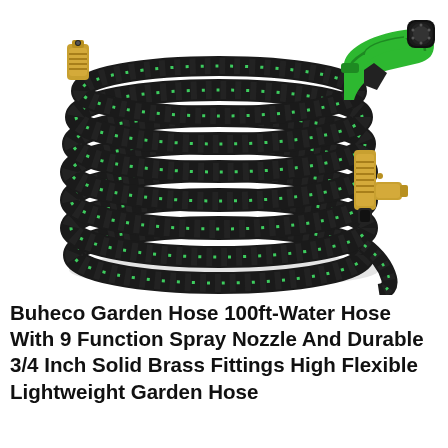[Figure (photo): A coiled black and green expandable garden hose with a green multi-function spray nozzle and solid brass fittings, shown on a white background.]
Buheco Garden Hose 100ft-Water Hose With 9 Function Spray Nozzle And Durable 3/4 Inch Solid Brass Fittings High Flexible Lightweight Garden Hose